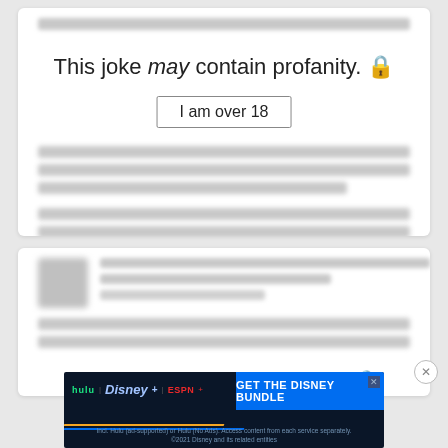[Figure (screenshot): A web page screenshot showing two joke cards. The top card displays a profanity warning: 'This joke may contain profanity.' with an 'I am over 18' button. Other content is blurred. The bottom card shows blurred content and a partial second profanity warning. A Disney Bundle advertisement banner is visible at the bottom.]
This joke may contain profanity. 🔒
I am over 18
This joke may contain profanity. 🔒
[Figure (infographic): Disney Bundle advertisement: hulu, Disney+, ESPN+ logos with 'GET THE DISNEY BUNDLE' call to action button. Fine print: 'Incl. Hulu (ad-supported) or Hulu (No Ads). Access content from each service separately. ©2021 Disney and its related entities']